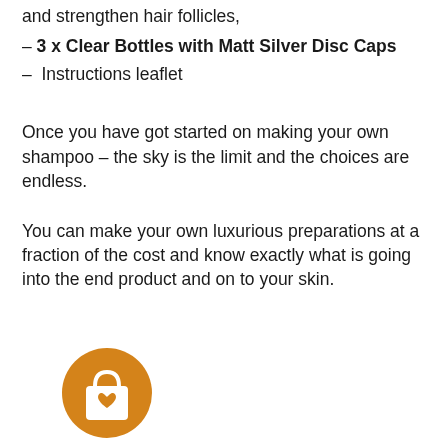and strengthen hair follicles,
– 3 x Clear Bottles with Matt Silver Disc Caps
–  Instructions leaflet
Once you have got started on making your own shampoo – the sky is the limit and the choices are endless.
You can make your own luxurious preparations at a fraction of the cost and know exactly what is going into the end product and on to your skin.
[Figure (illustration): Orange circle icon with a shopping bag and heart symbol]